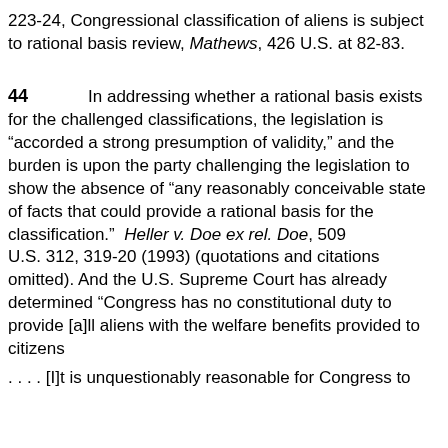223-24, Congressional classification of aliens is subject to rational basis review, Mathews, 426 U.S. at 82-83.
44    In addressing whether a rational basis exists for the challenged classifications, the legislation is “accorded a strong presumption of validity,” and the burden is upon the party challenging the legislation to show the absence of “any reasonably conceivable state of facts that could provide a rational basis for the classification.”  Heller v. Doe ex rel. Doe, 509 U.S. 312, 319-20 (1993) (quotations and citations omitted). And the U.S. Supreme Court has already determined “Congress has no constitutional duty to provide [a]ll aliens with the welfare benefits provided to citizens
. . . . [I]t is unquestionably reasonable for Congress to